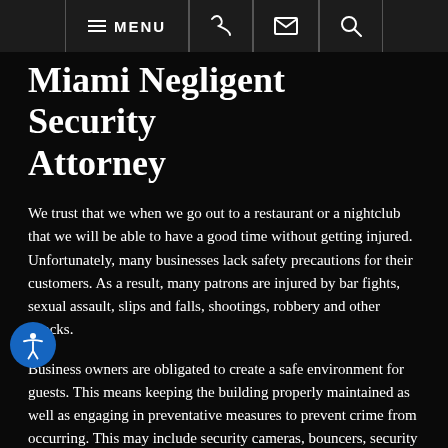MENU
Miami Negligent Security Attorney
We trust that we when we go out to a restaurant or a nightclub that we will be able to have a good time without getting injured. Unfortunately, many businesses lack safety precautions for their customers. As a result, many patrons are injured by bar fights, sexual assault, slips and falls, shootings, robbery and other attacks.
Business owners are obligated to create a safe environment for guests. This means keeping the building properly maintained as well as engaging in preventative measures to prevent crime from occurring. This may include security cameras, bouncers, security guards, adequate lighting and door locks. Contact our experienced Miami negligent security attorneys for assistance or more information.
Types of Negligent Security